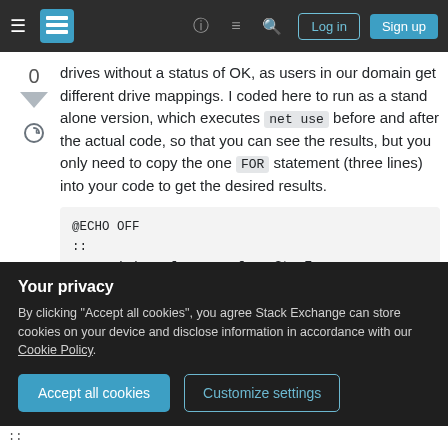[Figure (screenshot): Stack Exchange navigation bar with hamburger menu, logo, help icon, chat icon, search icon, Log in and Sign up buttons]
drives without a status of OK, as users in our domain get different drive mappings. I coded here to run as a stand alone version, which executes net use before and after the actual code, so that you can see the results, but you only need to copy the one FOR statement (three lines) into your code to get the desired results.
@ECHO OFF
::
:: revision of answer from StanZ on superus
   http://...
Your privacy
By clicking "Accept all cookies", you agree Stack Exchange can store cookies on your device and disclose information in accordance with our Cookie Policy.
Accept all cookies  Customize settings